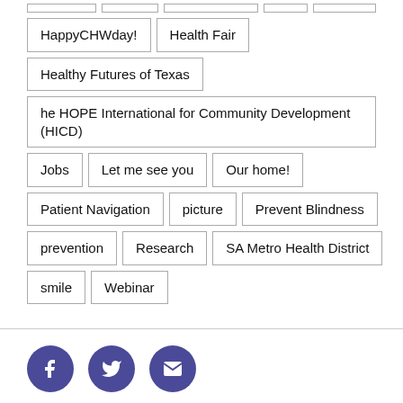HappyCHWday!
Health Fair
Healthy Futures of Texas
he HOPE International for Community Development (HICD)
Jobs
Let me see you
Our home!
Patient Navigation
picture
Prevent Blindness
prevention
Research
SA Metro Health District
smile
Webinar
[Figure (other): Social media icon buttons: Facebook (f), Twitter (bird), Email (envelope), in purple circles]